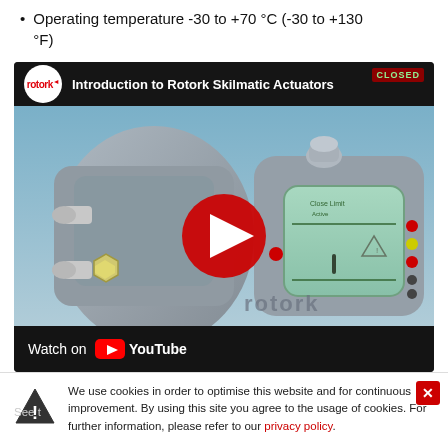Operating temperature -30 to +70 °C (-30 to +130 °F)
[Figure (screenshot): YouTube video thumbnail for 'Introduction to Rotork Skilmatic Actuators' showing a 3D rendered Rotork actuator with the Rotork logo, a YouTube play button, and a 'Watch on YouTube' bar at the bottom.]
We use cookies in order to optimise this website and for continuous improvement. By using this site you agree to the usage of cookies. For further information, please refer to our privacy policy.